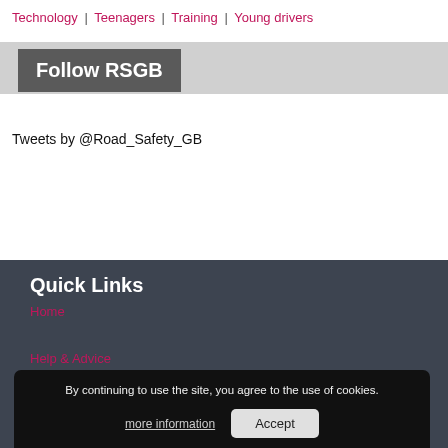Technology | Teenagers | Training | Young drivers
Follow RSGB
Tweets by @Road_Safety_GB
Quick Links
Home
Help & Advice
Media Centre
By continuing to use the site, you agree to the use of cookies.
more information
Accept